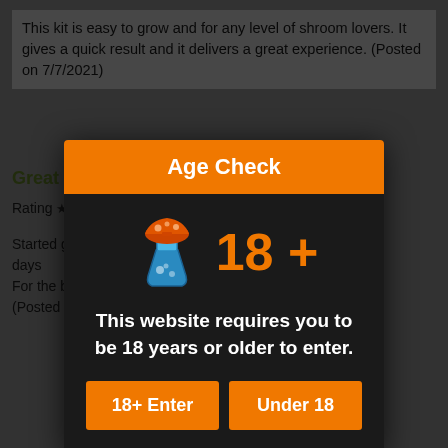This kit is easy to grow and for any level of shroom lovers. It gives a quick result and it delivers a great experience. (Posted on 7/7/2021)
Great  Re...
Rating ★★★★★
Started getting after 4-5 days
For the b... and during.
(Posted o...
read the
Allow   Disallow
[Figure (screenshot): Age Check modal dialog with orange header, mushroom flask emoji icon, '18+' text in orange, message 'This website requires you to be 18 years or older to enter.', and two orange buttons: '18+ Enter' and 'Under 18'. Background shows a partially visible product review page with a cookie consent bar at the bottom.]